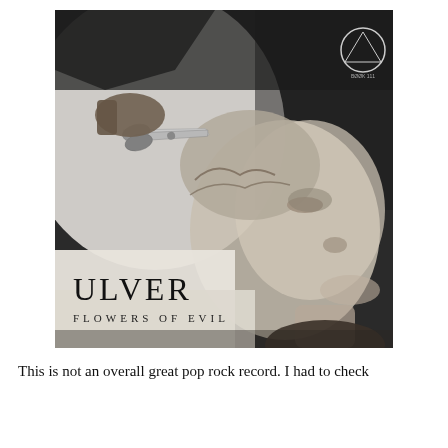[Figure (photo): Black and white album cover for Ulver - Flowers of Evil. Shows a person with head tilted back, eyes looking up, while scissors are held to their head by another person's hand. The album name 'ULVER' and subtitle 'FLOWERS OF EVIL' appear in serif font at the bottom left. A circular logo appears in the top right corner.]
This is not an overall great pop rock record. I had to check